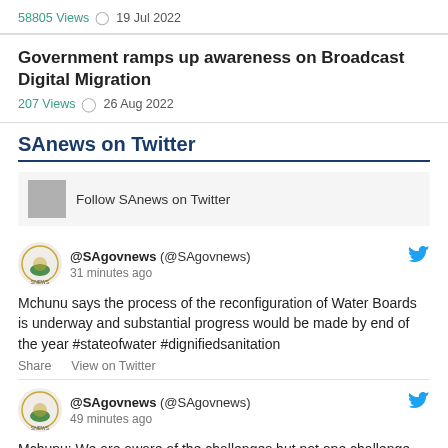58805 Views  19 Jul 2022
Government ramps up awareness on Broadcast Digital Migration
207 Views  26 Aug 2022
SAnews on Twitter
Follow SAnews on Twitter
@SAgovnews (@SAgovnews)
31 minutes ago
Mchunu says the process of the reconfiguration of Water Boards is underway and substantial progress would be made by end of the year #stateofwater #dignifiedsanitation
Share   View on Twitter
@SAgovnews (@SAgovnews)
49 minutes ago
Mchunu: We are aware of the challenges but not one challenge will…